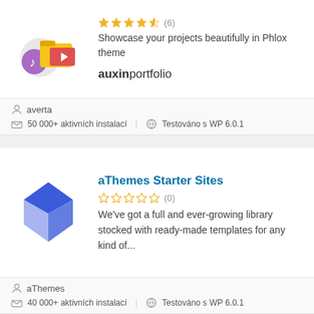[Figure (logo): auxinportfolio plugin logo with music note and folder icons]
★★★★☆ (6) Showcase your projects beautifully in Phlox theme
averta
50 000+ aktivních instalací   Testováno s WP 6.0.1
aThemes Starter Sites
[Figure (logo): aThemes blue cube/diamond logo]
☆☆☆☆☆ (0) We've got a full and ever-growing library stocked with ready-made templates for any kind of...
aThemes
40 000+ aktivních instalací   Testováno s WP 6.0.1